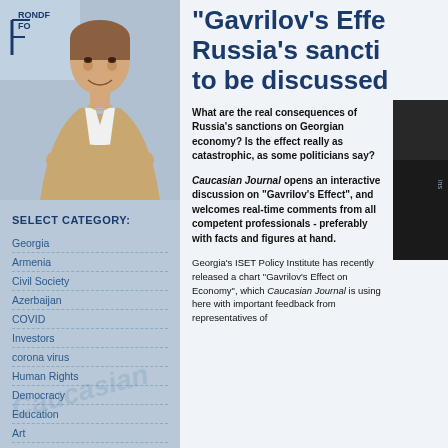[Figure (photo): Photo of a woman smiling with arms crossed, wearing a beige blazer. A logo with text 'RONDF... FO...' visible in top left corner of sidebar.]
SELECT CATEGORY:
Georgia
Armenia
Civil Society
Azerbaijan
COVID
Investors
corona virus
Human Rights
Democracy
Education
Art
gender
SEARCH CJ
"Gavrilov's Effect", Russia's sanctions to be discussed
What are the real consequences of Russia's sanctions on Georgian economy? Is the effect really as catastrophic, as some politicians say?
Caucasian Journal opens an interactive discussion on "Gavrilov's Effect", and welcomes real-time comments from all competent professionals - preferably with facts and figures at hand.
[Figure (photo): Dark image, partially visible on the right side, appears to show a person in dark tones.]
Georgia's ISET Policy Institute has recently released a chart "Gavrilov's Effect on Economy", which Caucasian Journal is using here with important feedback from representatives of